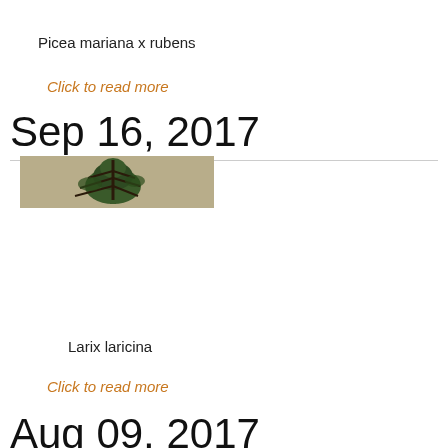Picea mariana x rubens
Click to read more
Sep 16, 2017
[Figure (photo): A conifer tree (spruce or similar) photographed against a tan/beige background, showing dark branches with green foliage.]
Larix laricina
Click to read more
Aug 09, 2017